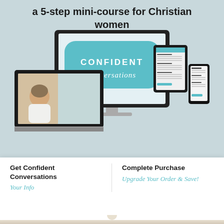a 5-step mini-course for Christian women
[Figure (illustration): Promotional image showing multiple devices (desktop monitor, laptop, tablet, phone) displaying the 'Confident Conversations' course branding. The monitor shows a teal speech bubble with 'CONFIDENT conversations' text. The laptop shows a woman presenter. The tablet and phone show course worksheet content.]
Get Confident Conversations
Your Info
Complete Purchase
Upgrade Your Order & Save!